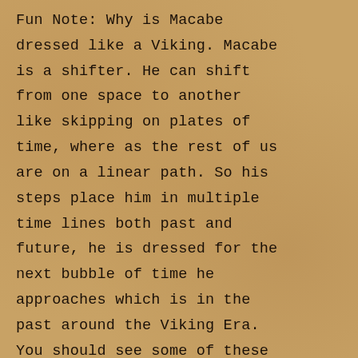Fun Note: Why is Macabe dressed like a Viking. Macabe is a shifter. He can shift from one space to another like skipping on plates of time, where as the rest of us are on a linear path. So his steps place him in multiple time lines both past and future, he is dressed for the next bubble of time he approaches which is in the past around the Viking Era. You should see some of these future clothes, we totally put the computer on us